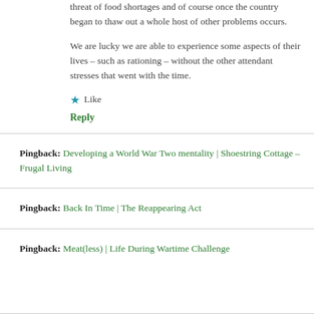threat of food shortages and of course once the country began to thaw out a whole host of other problems occurs.
We are lucky we are able to experience some aspects of their lives – such as rationing – without the other attendant stresses that went with the time.
★ Like
Reply
Pingback: Developing a World War Two mentality | Shoestring Cottage – Frugal Living
Pingback: Back In Time | The Reappearing Act
Pingback: Meat(less) | Life During Wartime Challenge